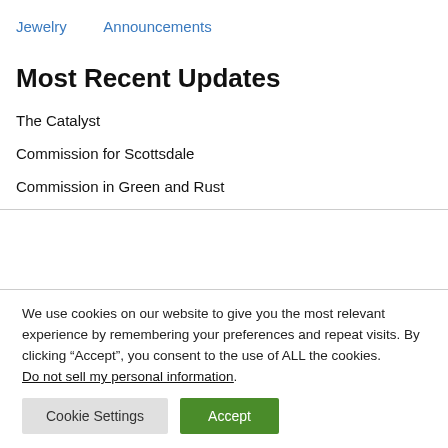Jewelry
Announcements
Most Recent Updates
The Catalyst
Commission for Scottsdale
Commission in Green and Rust
We use cookies on our website to give you the most relevant experience by remembering your preferences and repeat visits. By clicking “Accept”, you consent to the use of ALL the cookies. Do not sell my personal information.
Cookie Settings  Accept